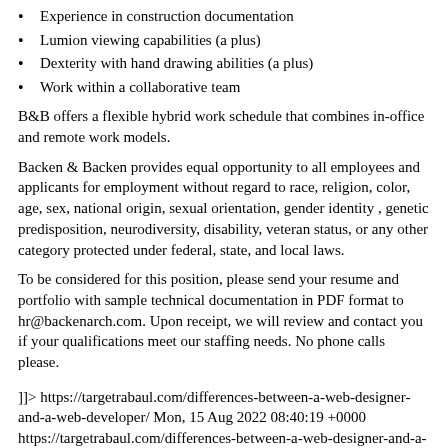Experience in construction documentation
Lumion viewing capabilities (a plus)
Dexterity with hand drawing abilities (a plus)
Work within a collaborative team
B&B offers a flexible hybrid work schedule that combines in-office and remote work models.
Backen & Backen provides equal opportunity to all employees and applicants for employment without regard to race, religion, color, age, sex, national origin, sexual orientation, gender identity , genetic predisposition, neurodiversity, disability, veteran status, or any other category protected under federal, state, and local laws.
To be considered for this position, please send your resume and portfolio with sample technical documentation in PDF format to hr@backenarch.com. Upon receipt, we will review and contact you if your qualifications meet our staffing needs. No phone calls please.
]]> https://targetrabaul.com/differences-between-a-web-designer-and-a-web-developer/ Mon, 15 Aug 2022 08:40:19 +0000 https://targetrabaul.com/differences-between-a-web-designer-and-a-web-developer/